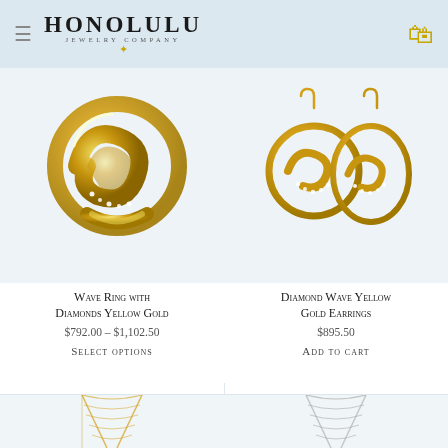Honolulu Jewelry Company
[Figure (photo): Wave Ring with Diamonds Yellow Gold jewelry product photo]
Wave Ring with Diamonds Yellow Gold
$792.00 – $1,102.50
Select options
[Figure (photo): Diamond Wave Yellow Gold Earrings jewelry product photo]
Diamond Wave Yellow Gold Earrings
$895.50
Add to cart
[Figure (photo): Gold chain necklace product preview]
[Figure (photo): Silver/white gold chain necklace product preview]